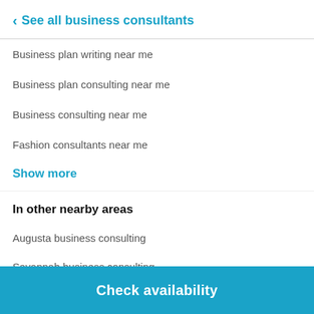See all business consultants
Business plan writing near me
Business plan consulting near me
Business consulting near me
Fashion consultants near me
Show more
In other nearby areas
Augusta business consulting
Savannah business consulting
Statesboro business consulting
Gainesville business consulting
Check availability